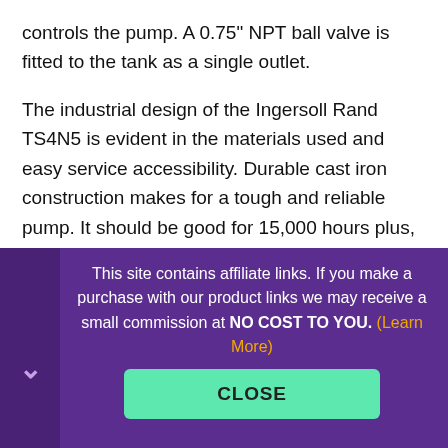controls the pump. A 0.75" NPT ball valve is fitted to the tank as a single outlet.
The industrial design of the Ingersoll Rand TS4N5 is evident in the materials used and easy service accessibility. Durable cast iron construction makes for a tough and reliable pump. It should be good for 15,000 hours plus, without any hassles. Using the
This site contains affiliate links. If you make a purchase with our product links we may receive a small commission at NO COST TO YOU. (Learn More)
CLOSE